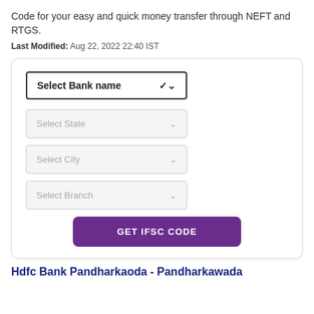Code for your easy and quick money transfer through NEFT and RTGS.
Last Modified: Aug 22, 2022 22:40 IST
[Figure (screenshot): A card UI with bank IFSC code lookup form containing: 'Select Bank name' dropdown (bold border), 'Select State' dropdown (gray), 'Select City' dropdown (gray), 'Select Branch' dropdown (gray), and a purple 'GET IFSC CODE' button.]
Hdfc Bank Pandharkaoda - Pandharkawada